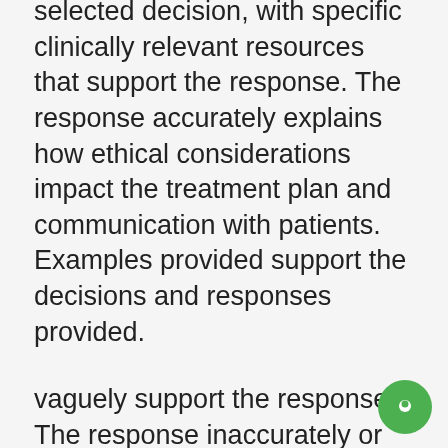selected decision, with specific clinically relevant resources that support the response. The response accurately explains how ethical considerations impact the treatment plan and communication with patients. Examples provided support the decisions and responses provided.
vaguely support the response. The response inaccurately or vaguely explains the outcome the student was hoping to achieve with the selected decision, with specific clinically relevant resources that inaccurately or vaguely support the response. The response inaccurately or